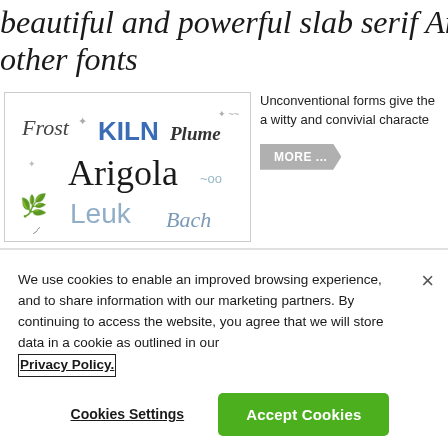beautiful and powerful slab serif Arigo other fonts
[Figure (illustration): Font showcase image showing various typefaces: Frost (script), KILN (bold blue sans), Plume (italic), Arigola (large display), Leuk (light blue), Bach (script), with decorative botanical elements]
Unconventional forms give the a witty and convivial characte
MORE ...
We use cookies to enable an improved browsing experience, and to share information with our marketing partners. By continuing to access the website, you agree that we will store data in a cookie as outlined in our Privacy Policy.
Cookies Settings
Accept Cookies